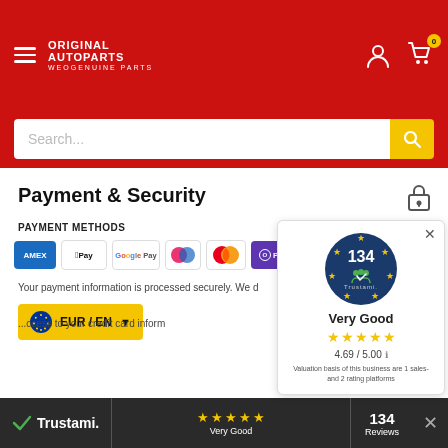[Figure (screenshot): Website header with red background, hamburger menu, Original Autoparts logo, user/cart icons]
[Figure (screenshot): Search bar with placeholder text 'Search...' and yellow search button]
Payment & Security
PAYMENT METHODS
[Figure (infographic): Payment method icons: Amex, Apple Pay, Google Pay, Maestro, Mastercard, O Pay, Visa]
Your payment information is processed securely. We d...
[Figure (infographic): EUR/EN currency selector button with EU flag]
...ccess to your credit card inform...
[Figure (infographic): Trustami popup widget showing 134 reviews, Very Good rating, 4.69/5.00 stars, valuation basis note]
Trustami. Very Good  4.69 / 5.00  134 Reviews